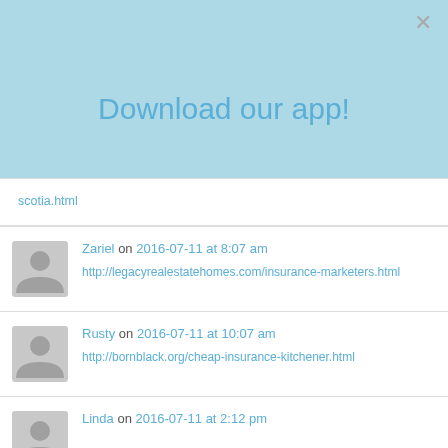Download our app!
scotia.html
Zariel on 2016-07-11 at 8:07 am
http://legacyrealestatehomes.com/insurance-marketers.html
Rusty on 2016-07-11 at 10:07 am
http://bornblack.org/cheap-insurance-kitchener.html
Linda on 2016-07-11 at 2:12 pm